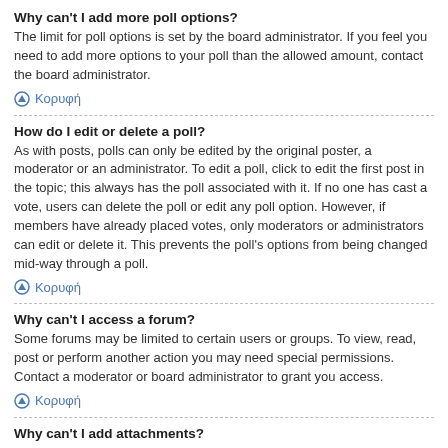Why can't I add more poll options?
The limit for poll options is set by the board administrator. If you feel you need to add more options to your poll than the allowed amount, contact the board administrator.
Κορυφή
How do I edit or delete a poll?
As with posts, polls can only be edited by the original poster, a moderator or an administrator. To edit a poll, click to edit the first post in the topic; this always has the poll associated with it. If no one has cast a vote, users can delete the poll or edit any poll option. However, if members have already placed votes, only moderators or administrators can edit or delete it. This prevents the poll's options from being changed mid-way through a poll.
Κορυφή
Why can't I access a forum?
Some forums may be limited to certain users or groups. To view, read, post or perform another action you may need special permissions. Contact a moderator or board administrator to grant you access.
Κορυφή
Why can't I add attachments?